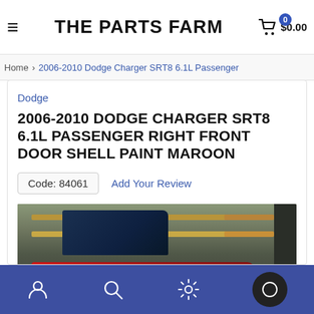THE PARTS FARM
Home › 2006-2010 Dodge Charger SRT8 6.1L Passenger
Dodge
2006-2010 DODGE CHARGER SRT8 6.1L PASSENGER RIGHT FRONT DOOR SHELL PAINT MAROON
Code: 84061   Add Your Review
[Figure (photo): Red Dodge Charger passenger front door shell leaning against a wooden pallet in a warehouse setting]
Navigation icons: account, search, settings, chat